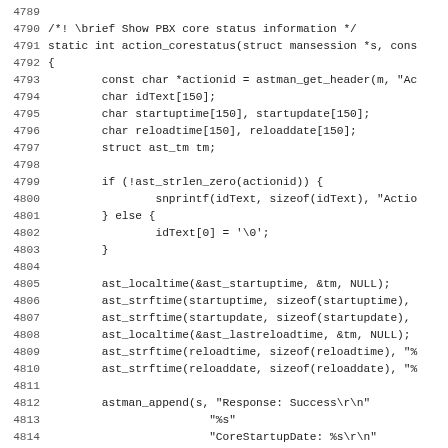[Figure (screenshot): Source code listing showing C function action_corestatus lines 4789-4820, with line numbers on left and code in monospace font on white background.]